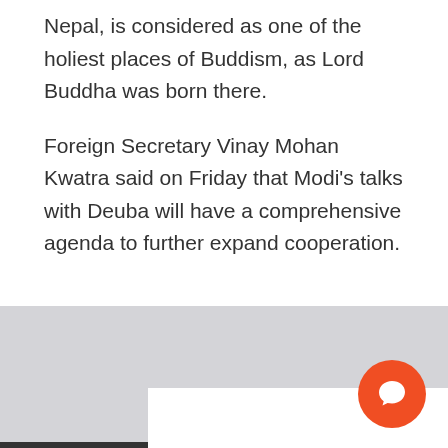Nepal, is considered as one of the holiest places of Buddism, as Lord Buddha was born there.
Foreign Secretary Vinay Mohan Kwatra said on Friday that Modi's talks with Deuba will have a comprehensive agenda to further expand cooperation.
[Figure (other): Gray placeholder area with a dark horizontal bar at the bottom, an orange circular chat button in the lower right, and a partial white rectangle at the bottom right.]